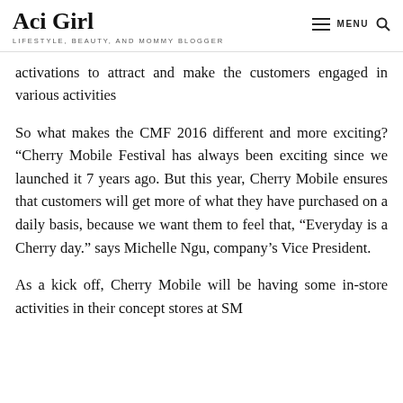Aci Girl | LIFESTYLE, BEAUTY, AND MOMMY BLOGGER
activations to attract and make the customers engaged in various activities
So what makes the CMF 2016 different and more exciting? “Cherry Mobile Festival has always been exciting since we launched it 7 years ago. But this year, Cherry Mobile ensures that customers will get more of what they have purchased on a daily basis, because we want them to feel that, “Everyday is a Cherry day.” says Michelle Ngu, company’s Vice President.
As a kick off, Cherry Mobile will be having some in-store activities in their concept stores at SM